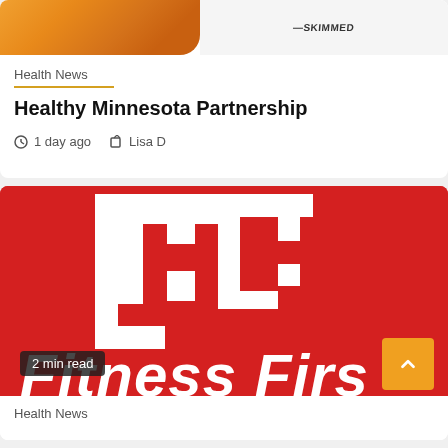[Figure (photo): Top portion of a news card showing fruit (orange/citrus) on the left and a partially visible product label on the right with text including 'SKIMMED']
Health News
Healthy Minnesota Partnership
1 day ago   Lisa D
[Figure (logo): Fitness First logo: white angular letterform shapes on red background, with italic white text 'Fitness Firs' (partially cropped). Yellow square scroll-to-top button with up arrow in bottom right. '2 min read' badge in bottom left.]
Health News